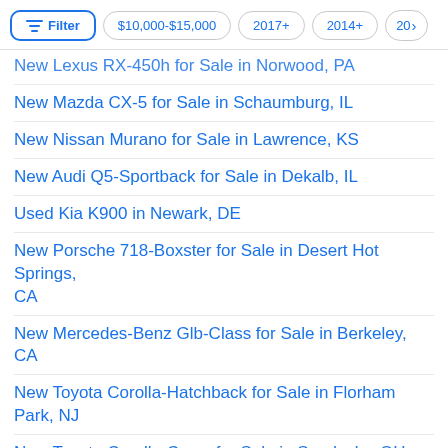Filter | $10,000-$15,000 | 2017+ | 2014+ | 20>
New Lexus RX-450h for Sale in Norwood, PA
New Mazda CX-5 for Sale in Schaumburg, IL
New Nissan Murano for Sale in Lawrence, KS
New Audi Q5-Sportback for Sale in Dekalb, IL
Used Kia K900 in Newark, DE
New Porsche 718-Boxster for Sale in Desert Hot Springs, CA
New Mercedes-Benz Glb-Class for Sale in Berkeley, CA
New Toyota Corolla-Hatchback for Sale in Florham Park, NJ
New Toyota Corolla-Cross for Sale in Sandusky, OH
New Volkswagen Jetta for Sale in Boone, NC
New Jeep Renegade for Sale in Mechanicsburg, PA
New Chevrolet Bolt-Euv for Sale in Oakley, CA
New Chevrolet Colorado for Sale in Lewistown, PA
New Cadillac Escalade-Esv for Sale in Zanesville, OH
New Infiniti QX50 for Sale in Daytona Beach, FL
New Volkswagen Arteon for Sale in Jasper, AL